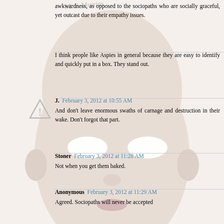awkwardness, as opposed to the sociopaths who are socially graceful, yet outcast due to their empathy issues.
I think people like Aspies in general because they are easy to identify and quickly put in a box. They stand out.
J. February 3, 2012 at 10:55 AM
And don't leave enormous swaths of carnage and destruction in their wake. Don't forgot that part.
Stoner February 3, 2012 at 11:28 AM
Not when you get them baked.
Anonymous February 3, 2012 at 11:29 AM
Agreed. Sociopaths will never be accepted